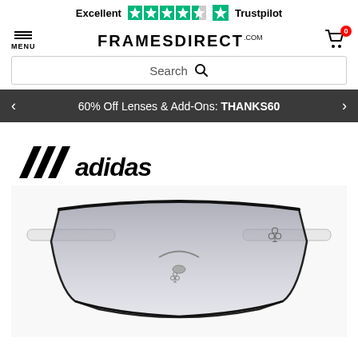[Figure (logo): Trustpilot rating bar showing 'Excellent' with 4.5 green stars and Trustpilot logo]
FRAMESDIRECT.COM — Menu and cart (0 items)
Search
60% Off Lenses & Add-Ons: THANKS60
[Figure (logo): Adidas logo with three diagonal black stripes and 'adidas' wordmark in black italic]
[Figure (photo): Adidas sunglasses with white/clear frames, large shield-style dark gradient lenses, and adidas trefoil logo on the temples]